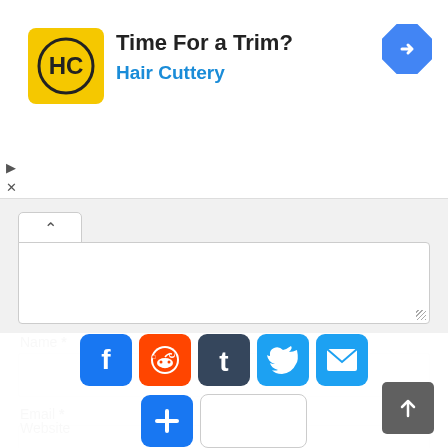[Figure (screenshot): Hair Cuttery advertisement banner with yellow logo showing 'HC' in circle, text 'Time For a Trim?' and 'Hair Cuttery' in blue, and a blue navigation diamond icon on the right]
[Figure (screenshot): Web form with collapse button (chevron up), textarea, Name field, Email field, Website label, and social sharing buttons (Facebook, Reddit, Tumblr, Twitter, Email, Plus) and a scroll-to-top button]
Name *
Email *
Website